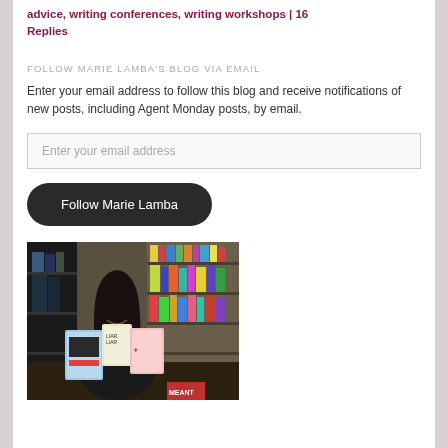advice, writing conferences, writing workshops | 16 Replies
FOLLOW MARIE LAMBA'S BLOG VIA EMAIL
Enter your email address to follow this blog and receive notifications of new posts, including Agent Monday posts, by email.
Enter your email address
Follow Marie Lamba
[Figure (photo): Photo of Marie Lamba smiling in a bookstore, holding several books, wearing a black top, with bookshelves visible in the background.]